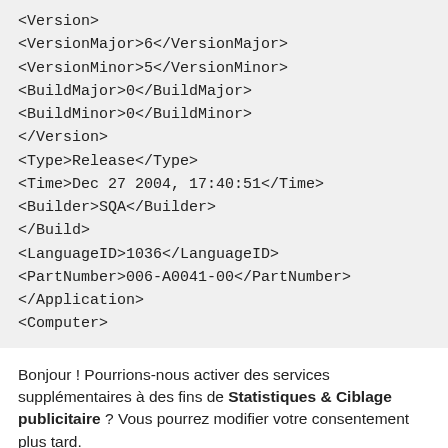<Version>
<VersionMajor>6</VersionMajor>
<VersionMinor>5</VersionMinor>
<BuildMajor>0</BuildMajor>
<BuildMinor>0</BuildMinor>
</Version>
<Type>Release</Type>
<Time>Dec 27 2004, 17:40:51</Time>
<Builder>SQA</Builder>
</Build>
<LanguageID>1036</LanguageID>
<PartNumber>006-A0041-00</PartNumber>
</Application>
<Computer>
Bonjour ! Pourrions-nous activer des services supplémentaires à des fins de Statistiques & Ciblage publicitaire ? Vous pourrez modifier votre consentement plus tard.
Personnaliser
J'accepte